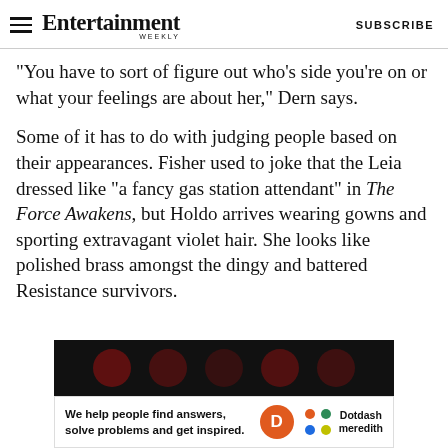Entertainment Weekly — SUBSCRIBE
“You have to sort of figure out who’s side you’re on or what your feelings are about her,” Dern says.
Some of it has to do with judging people based on their appearances. Fisher used to joke that the Leia dressed like “a fancy gas station attendant” in The Force Awakens, but Holdo arrives wearing gowns and sporting extravagant violet hair. She looks like polished brass amongst the dingy and battered Resistance survivors.
[Figure (screenshot): Advertisement: dark background with red circles and Dotdash Meredith branding at bottom. Text reads: We help people find answers, solve problems and get inspired.]